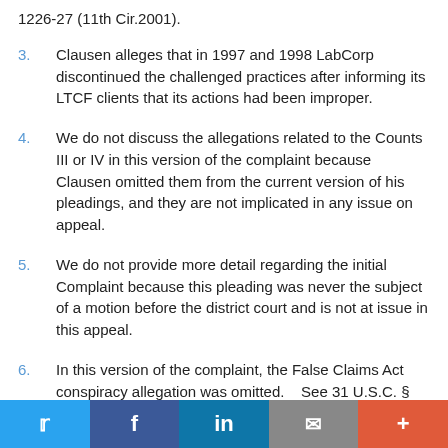1226-27 (11th Cir.2001).
3.	Clausen alleges that in 1997 and 1998 LabCorp discontinued the challenged practices after informing its LTCF clients that its actions had been improper.
4.	We do not discuss the allegations related to the Counts III or IV in this version of the complaint because Clausen omitted them from the current version of his pleadings, and they are not implicated in any issue on appeal.
5.	We do not provide more detail regarding the initial Complaint because this pleading was never the subject of a motion before the district court and is not at issue in this appeal.
6.	In this version of the complaint, the False Claims Act conspiracy allegation was omitted.    See 31 U.S.C. §
Twitter | Facebook | LinkedIn | Email | More